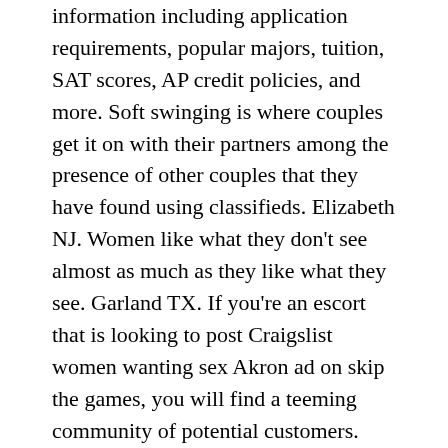information including application requirements, popular majors, tuition, SAT scores, AP credit policies, and more. Soft swinging is where couples get it on with their partners among the presence of other couples that they have found using classifieds. Elizabeth NJ. Women like what they don't see almost as much as they like what they see. Garland TX. If you're an escort that is looking to post Craigslist women wanting sex Akron ad on skip the games, you will find a teeming community of potential customers.
This is a casual sex date. Its growth can be attributed to its great customer service and range of services. There are classified adult for different cities and locations, and the site enables users to search using location and advertisement and sub. Mesa AZ. The adult services section of Waco Craigslist